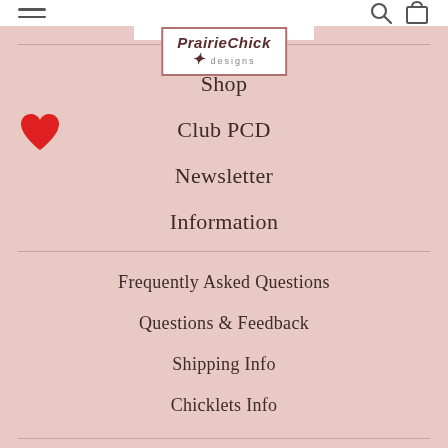[Figure (logo): PrairieChick Designs logo with handwritten-style text in a rectangular border]
Shop
Club PCD
Newsletter
Information
Frequently Asked Questions
Questions & Feedback
Shipping Info
Chicklets Info